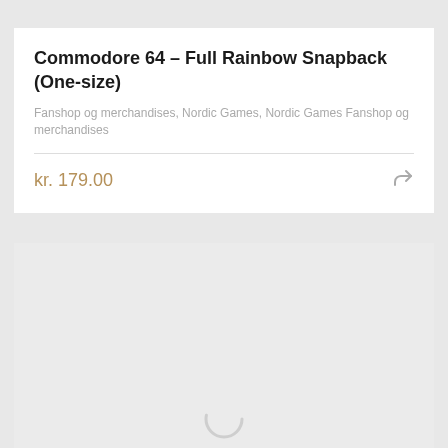Commodore 64 – Full Rainbow Snapback (One-size)
Fanshop og merchandises, Nordic Games, Nordic Games Fanshop og merchandises
kr. 179.00
[Figure (other): Loading spinner icon at the bottom of the page, indicating content is loading]